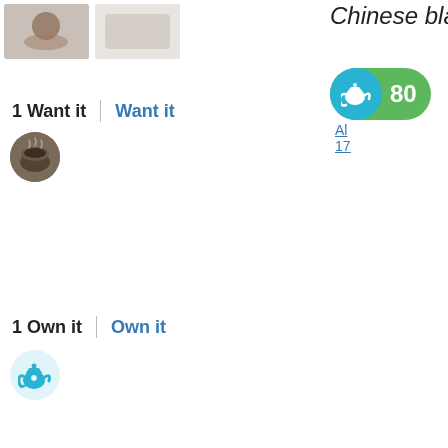[Figure (photo): Two thumbnail images of tea product, partially visible at top left]
Chinese bla...
[Figure (infographic): Score badge: green pill with blue teapot icon and score of 80]
Al...
17...
1 Want it  |  Want it
[Figure (photo): Small circular avatar showing tea cup photo]
1 Own it  |  Own it
[Figure (illustration): Small circular avatar with blue teapot icon]
From Vahdam Teas
An imperial harvest from the unique terroir of Nepal at the foothills of th... including the mighty peak of Mount Everest. The raw leaves are hand-p... elevation above 1500 metres from extravagant buds & delicately rolled... The attractive leaves offer a combination of golden, silver & brown tips... the & in fruit...